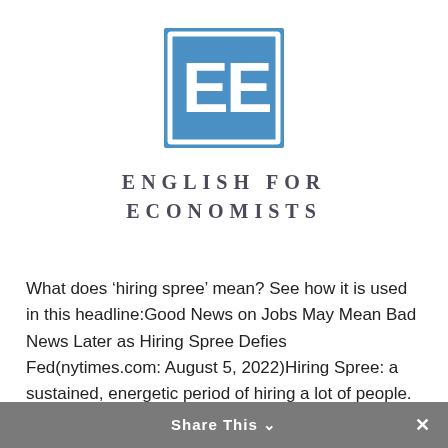[Figure (logo): English for Economists logo: a blue square with a white border and two white capital letter E's side by side]
ENGLISH FOR ECONOMISTS
What does ‘hiring spree’ mean? See how it is used in this headline:Good News on Jobs May Mean Bad News Later as Hiring Spree Defies Fed(nytimes.com: August 5, 2022)Hiring Spree: a sustained, energetic period of hiring a lot of people. Es un 'boom' de contrataciones....
Share This